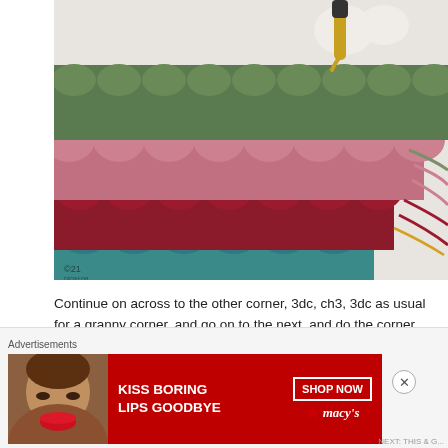[Figure (photo): Close-up photo of crochet work in progress showing rows of granny square style stitches in green, pink/mauve, dark red/burgundy, and teal colors, with loose yarn ends visible and a gold crochet hook at the top]
Continue on across to the other corner, 3dc, ch3, 3dc as usual for a granny corner, and go on to the next. and do the corner.
[Figure (photo): Partially visible photo showing a crochet hook and crochet work, similar to the top photo]
Advertisements
[Figure (photo): Advertisement banner for Macy's showing a woman's face with red lips, text 'KISS BORING LIPS GOODBYE' and 'SHOP NOW' button with Macy's star logo]